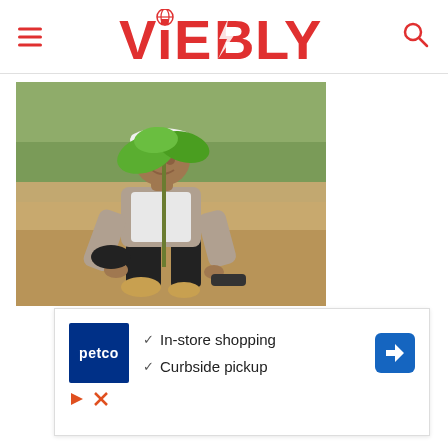ViEBLY
[Figure (photo): A man wearing a white hard hat and a vest crouches down on sandy ground planting a small tree sapling. He is smiling at the camera. Background shows trees and a field.]
[Figure (infographic): Advertisement for Petco showing checkmarks next to 'In-store shopping' and 'Curbside pickup' text, with Petco logo and a blue navigation arrow icon.]